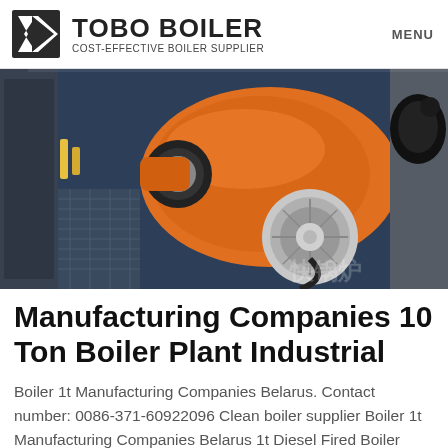TOBO BOILER COST-EFFECTIVE BOILER SUPPLIER | MENU
[Figure (photo): Industrial boiler burner unit — orange/black burner assembly mounted on dark blue boiler body, with Chinese text watermark in bottom right]
Manufacturing Companies 10 Ton Boiler Plant Industrial
Boiler 1t Manufacturing Companies Belarus. Contact number: 0086-371-60922096 Clean boiler supplier Boiler 1t Manufacturing Companies Belarus 1t Diesel Fired Boiler